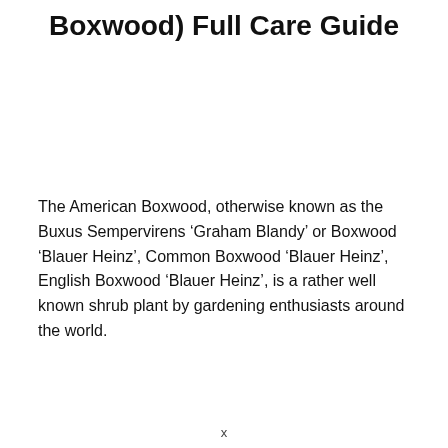Boxwood) Full Care Guide
The American Boxwood, otherwise known as the Buxus Sempervirens ‘Graham Blandy’ or Boxwood ‘Blauer Heinz’, Common Boxwood ‘Blauer Heinz’, English Boxwood ‘Blauer Heinz’, is a rather well known shrub plant by gardening enthusiasts around the world.
x